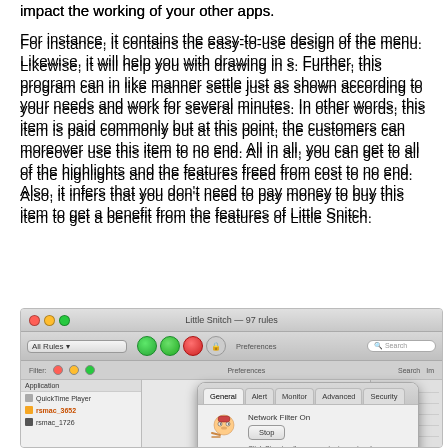impact the working of your other apps.
For instance, it contains the easy-to-use design of the menu. Likewise, it will help you with drawing in s. Further, this program can in like manner settle just as shown according to your needs and work for several minutes. In other words, this item is paid commonly but at this point, the customers can moreover use this item to no end. All in all, you can get to all of the highlights and the features freed from cost to no end. Also, it infers that you don't need to pay money to buy this item to get a benefit from the features of Little Snitch.
[Figure (screenshot): Screenshot of Little Snitch application showing the main window with 97 rules, All Rules filter selected, toolbar with green/red buttons, and a General preferences dialog open showing Network Filter On with Stop button, Show inactivity warning in menu bar checkbox, and Not registered section indicating demo mode.]